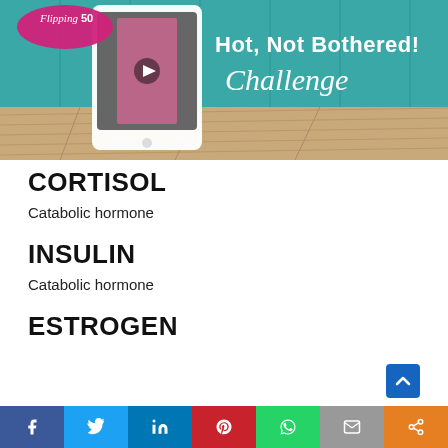[Figure (illustration): Flipping50 'Hot, Not Bothered! Challenge' promotional banner. Teal wood-panel background with a white tablet showing a woman in workout clothes. Pink Flipping50 logo in top left. White bold text reads 'Hot, Not Bothered! Challenge' in script font. Wooden floor surface at bottom.]
CORTISOL
Catabolic hormone
INSULIN
Catabolic hormone
ESTROGEN